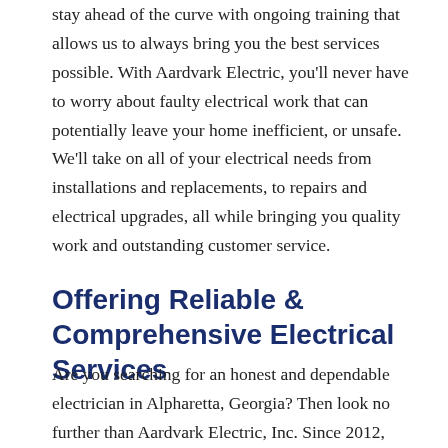stay ahead of the curve with ongoing training that allows us to always bring you the best services possible. With Aardvark Electric, you'll never have to worry about faulty electrical work that can potentially leave your home inefficient, or unsafe. We'll take on all of your electrical needs from installations and replacements, to repairs and electrical upgrades, all while bringing you quality work and outstanding customer service.
Offering Reliable & Comprehensive Electrical Services
Are you searching for an honest and dependable electrician in Alpharetta, Georgia? Then look no further than Aardvark Electric, Inc. Since 2012, we've been providing a full range of electrical services to Fulton County, including sub panel